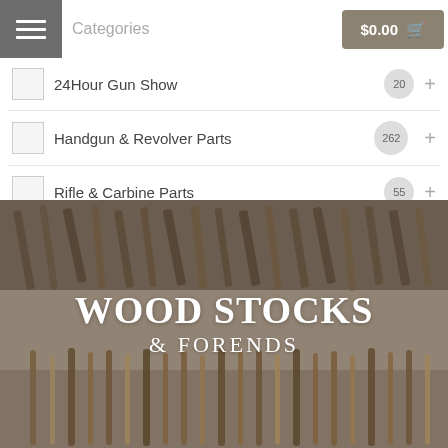Categories
24Hour Gun Show  20
Handgun & Revolver Parts  262
Rifle & Carbine Parts  55
[Figure (photo): Banner image showing wood gun stocks and forends racked vertically, with text overlay reading 'Wood Stocks & Forends']